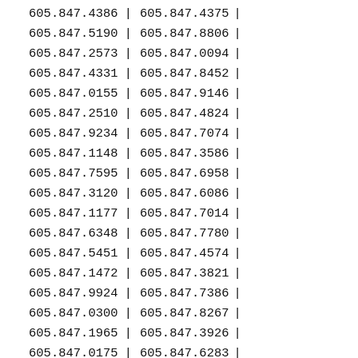| Column1 | sep | Column2 | pipe |
| --- | --- | --- | --- |
| 605.847.4386 | | | 605.847.4375 | | |
| 605.847.5190 | | | 605.847.8806 | | |
| 605.847.2573 | | | 605.847.0094 | | |
| 605.847.4331 | | | 605.847.8452 | | |
| 605.847.0155 | | | 605.847.9146 | | |
| 605.847.2510 | | | 605.847.4824 | | |
| 605.847.9234 | | | 605.847.7074 | | |
| 605.847.1148 | | | 605.847.3586 | | |
| 605.847.7595 | | | 605.847.6958 | | |
| 605.847.3120 | | | 605.847.6086 | | |
| 605.847.1177 | | | 605.847.7014 | | |
| 605.847.6348 | | | 605.847.7780 | | |
| 605.847.5451 | | | 605.847.4574 | | |
| 605.847.1472 | | | 605.847.3821 | | |
| 605.847.9924 | | | 605.847.7386 | | |
| 605.847.0300 | | | 605.847.8267 | | |
| 605.847.1965 | | | 605.847.3926 | | |
| 605.847.0175 | | | 605.847.6283 | | |